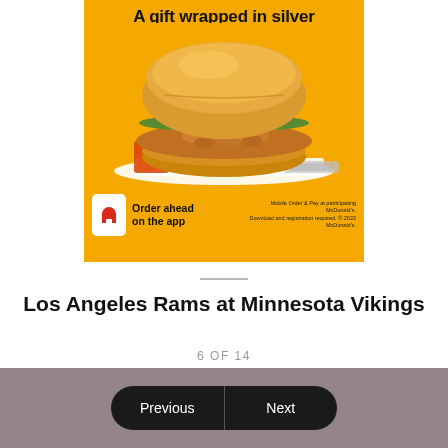[Figure (photo): McDonald's advertisement showing a crispy chicken sandwich on a yellow background with text 'A gift wrapped in silver'. Bottom shows McDonald's app icon with text 'Order ahead on the app' and fine print 'Mobile Order & Pay at participating McDonald's. Download and registration required. © 2022 McDonald's.']
Los Angeles Rams at Minnesota Vikings
6 OF 14
Previous | Next